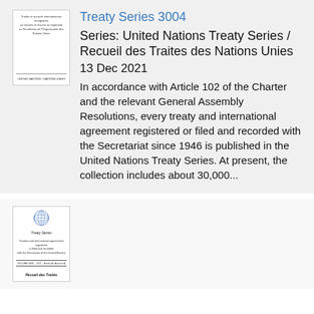[Figure (illustration): Thumbnail image of a UN Treaty Series book cover, showing text about treaties and international agreements and United Nations in French and English]
Treaty Series 3004
Series: United Nations Treaty Series / Recueil des Traites des Nations Unies
13 Dec 2021
In accordance with Article 102 of the Charter and the relevant General Assembly Resolutions, every treaty and international agreement registered or filed and recorded with the Secretariat since 1946 is published in the United Nations Treaty Series. At present, the collection includes about 30,000...
[Figure (illustration): Thumbnail of a UN Treaty Series volume cover showing the UN emblem, Treaty Series title, description text, volume number, year, and Recueil des Traités at the bottom]